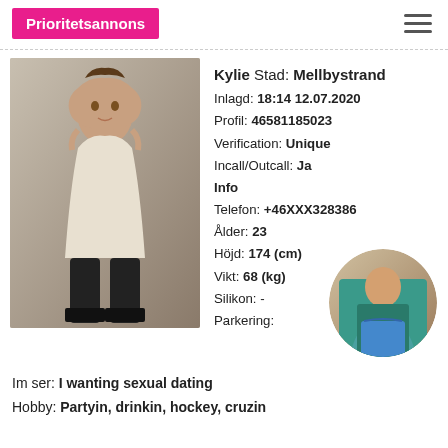Prioritetsannons
[Figure (photo): Main listing photo of a woman posing on a sofa]
Kylie Stad: Mellbystrand
Inlagd: 18:14 12.07.2020
Profil: 46581185023
Verification: Unique
Incall/Outcall: Ja
Info
Telefon: +46XXX328386
Ålder: 23
Höjd: 174 (cm)
Vikt: 68 (kg)
Silikon: -
Parkering:
[Figure (photo): Circular thumbnail photo of a woman in a teal top and denim shorts]
Im ser: I wanting sexual dating
Hobby: Partyin, drinkin, hockey, cruzin